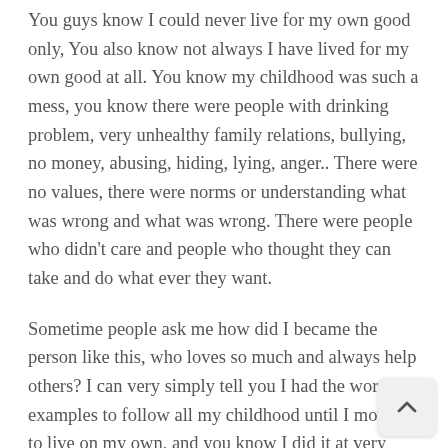You guys know I could never live for my own good only, You also know not always I have lived for my own good at all. You know my childhood was such a mess, you know there were people with drinking problem, very unhealthy family relations, bullying, no money, abusing, hiding, lying, anger.. There were no values, there were norms or understanding what was wrong and what was wrong. There were people who didn't care and people who thought they can take and do what ever they want.
Sometime people ask me how did I became the person like this, who loves so much and always help others? I can very simply tell you I had the worse examples to follow all my childhood until I moved to live on my own, and you know I did it at very young age. This is something that has always navigate and guide me in my life; thinking about “Am I A Good Example To Follow?”. This is what I want to be. But understanding to follow this kind of thought and norm at young age is its own story, all I can very shortly say is “I had